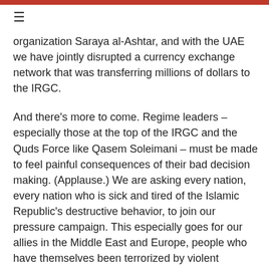≡
organization Saraya al-Ashtar, and with the UAE we have jointly disrupted a currency exchange network that was transferring millions of dollars to the IRGC.
And there's more to come. Regime leaders – especially those at the top of the IRGC and the Quds Force like Qasem Soleimani – must be made to feel painful consequences of their bad decision making. (Applause.) We are asking every nation, every nation who is sick and tired of the Islamic Republic's destructive behavior, to join our pressure campaign. This especially goes for our allies in the Middle East and Europe, people who have themselves been terrorized by violent regime's activity for decades.
And you should know that the United States is not afraid to spread our message on the airwaves and online inside of